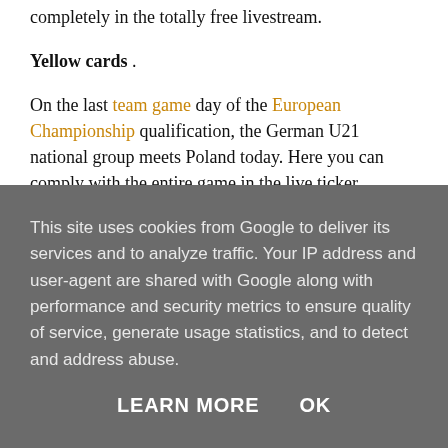completely in the totally free livestream.
Yellow cards .
On the last team game day of the European Championship qualification, the German U21 national group meets Poland today. Here you can comply with the entire game in the live ticker.
Before the start: In the EM qualification team B today the group's most team satisfies in the team runners-up Poland. Germany with confidence leads the team with 24
This site uses cookies from Google to deliver its services and to analyze traffic. Your IP address and user-agent are shared with Google along with performance and security metrics to ensure quality of service, generate usage statistics, and to detect and address abuse.
LEARN MORE  OK